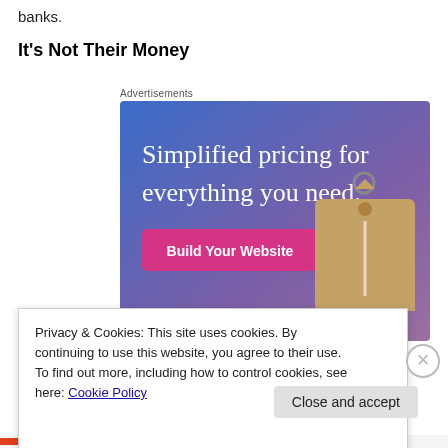banks.
It's Not Their Money
[Figure (illustration): Advertisement banner showing 'Simplified pricing for everything you need.' with a pink 'Build Your Website' button and a price tag graphic on a blue-to-purple gradient background]
Privacy & Cookies: This site uses cookies. By continuing to use this website, you agree to their use.
To find out more, including how to control cookies, see here: Cookie Policy
Close and accept